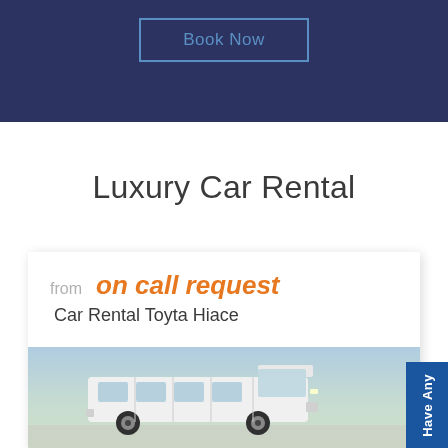[Figure (screenshot): Top dark navy blue banner with a 'Book Now' button outlined in blue]
Luxury Car Rental
[Figure (infographic): White card showing 'from on call request' and 'Car Rental Toyta Hiace' with a photo of a white Toyota Hiace van below, and a blue 'Have Any' side tab on the right]
from  on call request
Car Rental Toyta Hiace